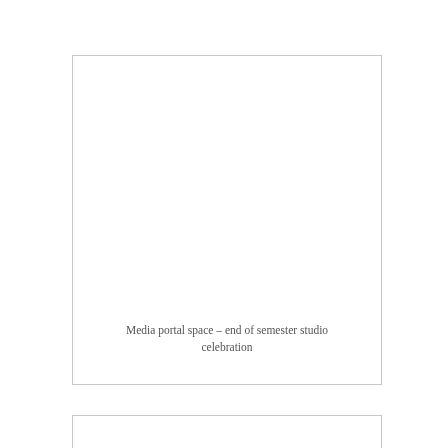[Figure (photo): Large rectangular photo placeholder with border – media portal space at end of semester studio celebration. The photo area is mostly white/blank.]
Media portal space – end of semester studio celebration
[Figure (photo): Second rectangular photo placeholder with border at the bottom of the page, partially visible.]